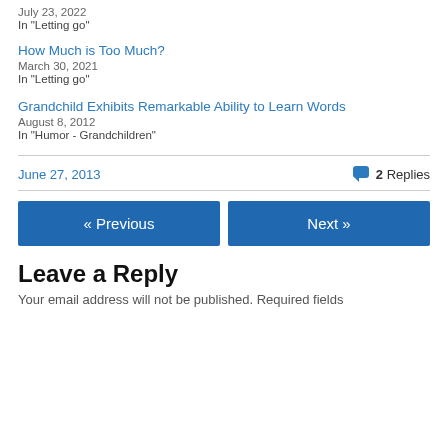July 23, 2022
In "Letting go"
How Much is Too Much?
March 30, 2021
In "Letting go"
Grandchild Exhibits Remarkable Ability to Learn Words
August 8, 2012
In "Humor - Grandchildren"
June 27, 2013
2 Replies
« Previous
Next »
Leave a Reply
Your email address will not be published. Required fields